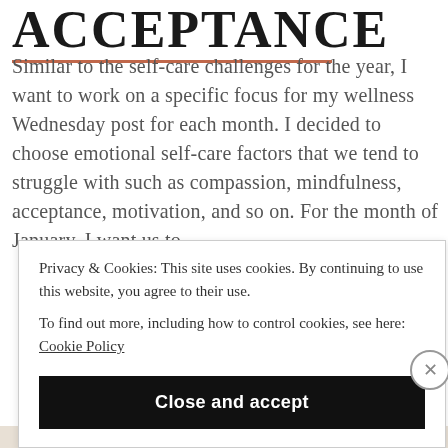ACCEPTANCE
Similar to the self-care challenges for the year, I want to work on a specific focus for my wellness Wednesday post for each month. I decided to choose emotional self-care factors that we tend to struggle with such as compassion, mindfulness, acceptance, motivation, and so on. For the month of January, I want us to
Privacy & Cookies: This site uses cookies. By continuing to use this website, you agree to their use.
To find out more, including how to control cookies, see here: Cookie Policy
Close and accept